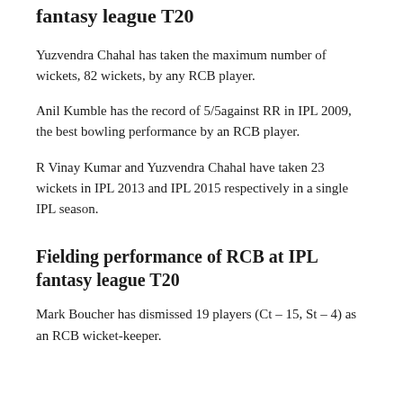fantasy league T20
Yuzvendra Chahal has taken the maximum number of wickets, 82 wickets, by any RCB player.
Anil Kumble has the record of 5/5against RR in IPL 2009, the best bowling performance by an RCB player.
R Vinay Kumar and Yuzvendra Chahal have taken 23 wickets in IPL 2013 and IPL 2015 respectively in a single IPL season.
Fielding performance of RCB at IPL fantasy league T20
Mark Boucher has dismissed 19 players (Ct – 15, St – 4) as an RCB wicket-keeper.